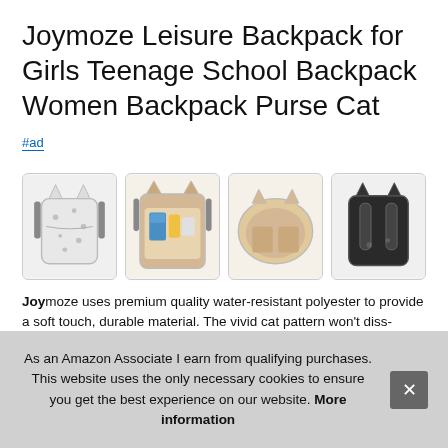Joymoze Leisure Backpack for Girls Teenage School Backpack Women Backpack Purse Cat
#ad
[Figure (photo): Four product photos of a cat-print backpack: front view, open interior with items, open main compartment, and back/strap view]
Joy soft diss con used, no fade, no smell, environmentally friendly and healthy.
As an Amazon Associate I earn from qualifying purchases. This website uses the only necessary cookies to ensure you get the best experience on our website. More information